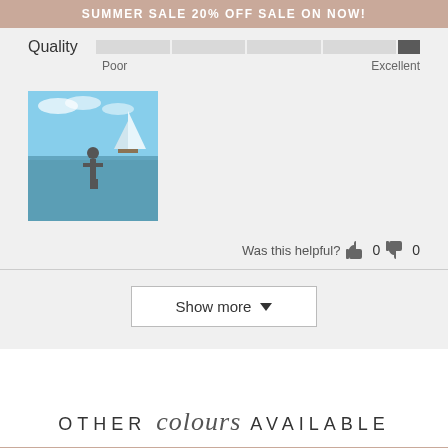SUMMER SALE 20% OFF SALE ON NOW!
Quality — Poor to Excellent rating bar
[Figure (photo): User-submitted review photo showing a person standing in a lake with a sailboat in the background]
Was this helpful? 0 0
Show more
OTHER colours AVAILABLE
SALE ENDS IN 12:35:12 Hours Minutes Seconds